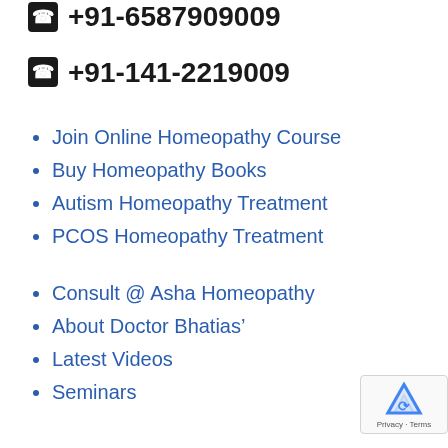+91-6587909009
+91-141-2219009
Join Online Homeopathy Course
Buy Homeopathy Books
Autism Homeopathy Treatment
PCOS Homeopathy Treatment
Consult @ Asha Homeopathy
About Doctor Bhatias’
Latest Videos
Seminars